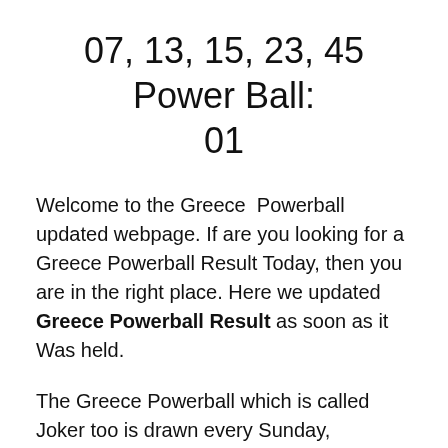07, 13, 15, 23, 45 Power Ball: 01
Welcome to the Greece Powerball updated webpage. If are you looking for a Greece Powerball Result Today, then you are in the right place. Here we updated Greece Powerball Result as soon as it Was held.
The Greece Powerball which is called Joker too is drawn every Sunday, Tuesday, and Thursday at 22:00 Eastern European Time (EET). Tickets will be on sale until 21:30 Eastern Time. Discover how to play and increase your winning chances. The most